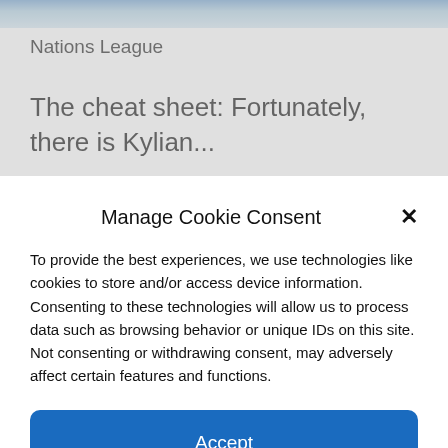[Figure (photo): Partial photo at top of webpage showing a sports/Nations League article image]
Nations League
The cheat sheet: Fortunately, there is Kylian...
Manage Cookie Consent
To provide the best experiences, we use technologies like cookies to store and/or access device information. Consenting to these technologies will allow us to process data such as browsing behavior or unique IDs on this site. Not consenting or withdrawing consent, may adversely affect certain features and functions.
Accept
Deny
DMCA  Cookie Policy  Privacy Policy